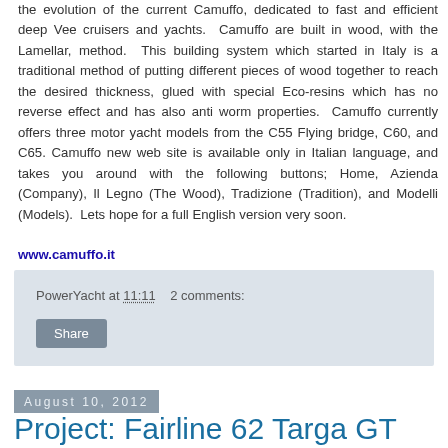the evolution of the current Camuffo, dedicated to fast and efficient deep Vee cruisers and yachts. Camuffo are built in wood, with the Lamellar, method. This building system which started in Italy is a traditional method of putting different pieces of wood together to reach the desired thickness, glued with special Eco-resins which has no reverse effect and has also anti worm properties. Camuffo currently offers three motor yacht models from the C55 Flying bridge, C60, and C65. Camuffo new web site is available only in Italian language, and takes you around with the following buttons; Home, Azienda (Company), Il Legno (The Wood), Tradizione (Tradition), and Modelli (Models). Lets hope for a full English version very soon.
www.camuffo.it
PowerYacht at 11:11   2 comments:
Share
August 10, 2012
Project: Fairline 62 Targa GT